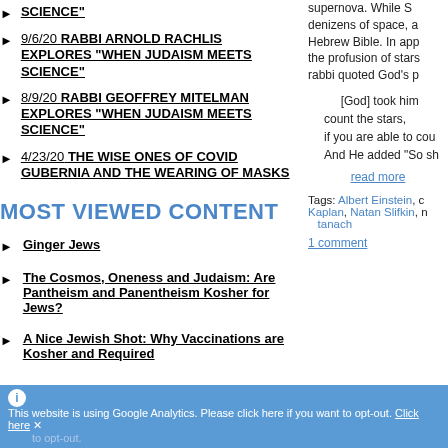9/6/20 RABBI ARNOLD RACHLIS EXPLORES "WHEN JUDAISM MEETS SCIENCE"
8/9/20 RABBI GEOFFREY MITELMAN EXPLORES "WHEN JUDAISM MEETS SCIENCE"
4/23/20 THE WISE ONES OF COVID GUBERNIA AND THE WEARING OF MASKS
MOST VIEWED CONTENT
Ginger Jews
The Cosmos, Oneness and Judaism: Are Pantheism and Panentheism Kosher for Jews?
A Nice Jewish Shot: Why Vaccinations are Kosher and Required
supernova. While S... denizens of space, a... Hebrew Bible. In app... the profusion of stars... rabbi quoted God's p...
[God] took him... count the stars, if you are able to cou... And He added "So sh...
read more
Tags: Albert Einstein, c... Kaplan, Natan Slifkin, n... tanach
1 comment
This website is using Google Analytics. Please click here if you want to opt-out. Click here... to opt-out.